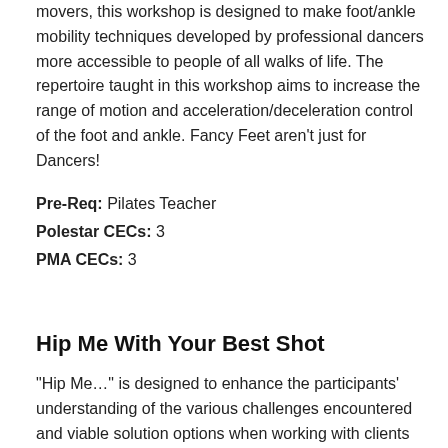movers, this workshop is designed to make foot/ankle mobility techniques developed by professional dancers more accessible to people of all walks of life. The repertoire taught in this workshop aims to increase the range of motion and acceleration/deceleration control of the foot and ankle. Fancy Feet aren't just for Dancers!
Pre-Req: Pilates Teacher
Polestar CECs: 3
PMA CECs: 3
Hip Me With Your Best Shot
“Hip Me…” is designed to enhance the participants’ understanding of the various challenges encountered and viable solution options when working with clients with labral pathologies. To date, the conversation about labral injuries for the